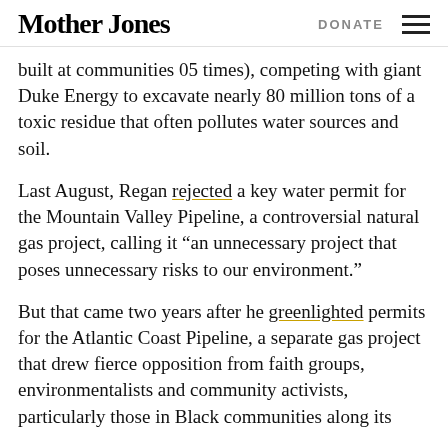Mother Jones | DONATE
built at communities 05 times), competing with giant Duke Energy to excavate nearly 80 million tons of a toxic residue that often pollutes water sources and soil.
Last August, Regan rejected a key water permit for the Mountain Valley Pipeline, a controversial natural gas project, calling it “an unnecessary project that poses unnecessary risks to our environment.”
But that came two years after he greenlighted permits for the Atlantic Coast Pipeline, a separate gas project that drew fierce opposition from faith groups, environmentalists and community activists, particularly those in Black communities along its